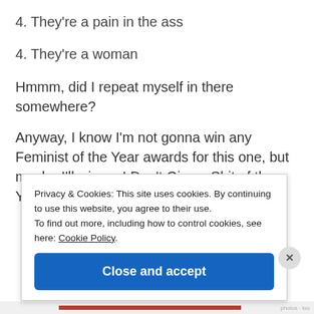4. They're a pain in the ass
4. They're a woman
Hmmm, did I repeat myself in there somewhere?
Anyway, I know I'm not gonna win any Feminist of the Year awards for this one, but maybe I'll win an I Don't Give a Shit of the Year award for speaking the truth… or
Privacy & Cookies: This site uses cookies. By continuing to use this website, you agree to their use.
To find out more, including how to control cookies, see here: Cookie Policy
Close and accept